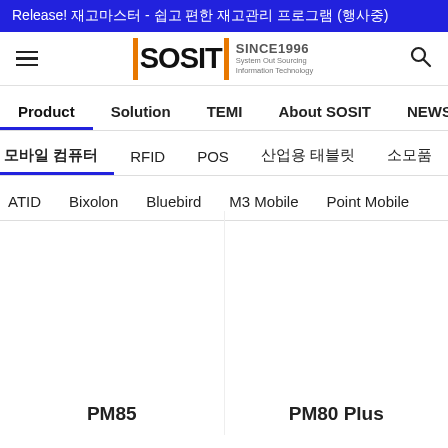Release! 재고마스터 - 쉽고 편한 재고관리 프로그램 (행사중)
[Figure (logo): ISOSIT company logo with orange vertical bars and SINCE1996 tagline]
Product | Solution | TEMI | About SOSIT | NEWS
모바일 컴퓨터 | RFID | POS | 산업용 태블릿 | 소모품
ATID | Bixolon | Bluebird | M3 Mobile | Point Mobile
PM85
PM80 Plus